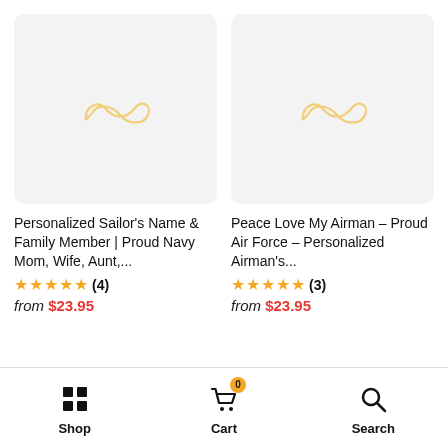[Figure (screenshot): Product listing image placeholder with golden infinity-style logo on light gray background for Personalized Sailor's Name & Family Member product]
Personalized Sailor's Name & Family Member | Proud Navy Mom, Wife, Aunt,...
★★★★★ (4) from $23.95
[Figure (screenshot): Product listing image placeholder with golden infinity-style logo on light gray background for Peace Love My Airman product]
Peace Love My Airman – Proud Air Force – Personalized Airman's...
★★★★★ (3) from $23.95
Shop   Cart (0)   Search